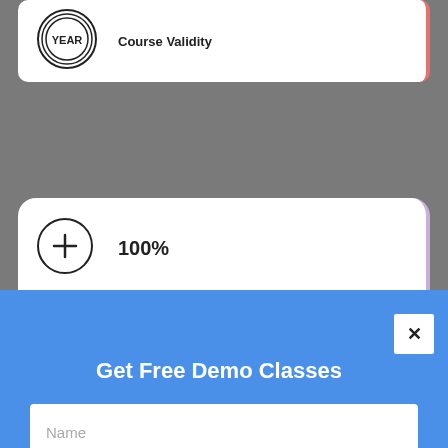[Figure (logo): Circular badge with 'YEAR' text and concentric ring lines]
Course Validity
[Figure (illustration): Circle icon with a plus/cursor hand symbol]
100%
Get Free Demo Classes
Name
Email
Mobile Number